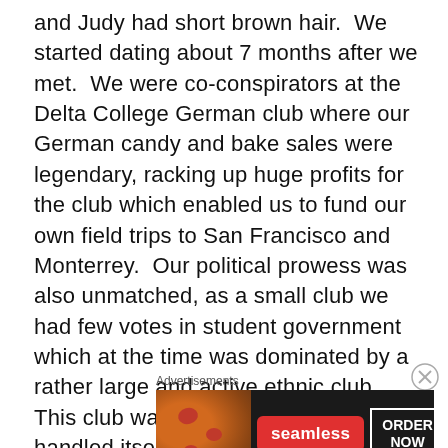and Judy had short brown hair.  We started dating about 7 months after we met.  We were co-conspirators at the Delta College German club where our German candy and bake sales were legendary, racking up huge profits for the club which enabled us to fund our own field trips to San Francisco and Monterrey.  Our political prowess was also unmatched, as a small club we had few votes in student government which at the time was dominated by a rather large and active ethnic club.  This club was a bit pushy the way it handled itself, so we cobbled together a coalition of the language, science and other kind of “nerdy” clubs, funded our candidate with our sales receipts, even passing our free candy on his campaign materials.  He
Advertisements
[Figure (photo): Seamless food delivery advertisement banner showing pizza slices on the left, a red Seamless logo in the center, and an 'ORDER NOW' button on the right, all on a dark background.]